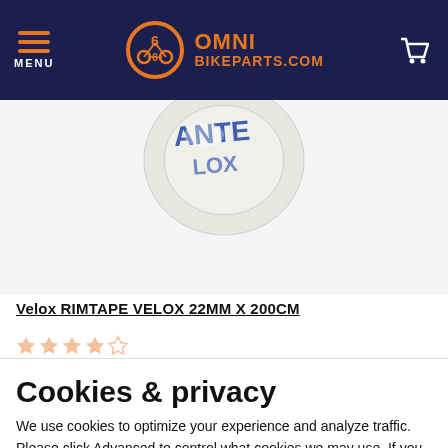MENU | OMNI BIKEPARTS.COM | Cart
[Figure (photo): Partial view of a white roll of Velox rim tape with blue lettering, photographed from above on a white background.]
Velox RIMTAPE VELOX 22MM X 200CM
★★★★☆
✓ In stock
€ 3.48
Cookies & privacy
We use cookies to optimize your experience and analyze traffic. Please click Advanced to control what cookies we may use. If you agree with our use of cookies, click Accept.
Advanced
Accept cookies